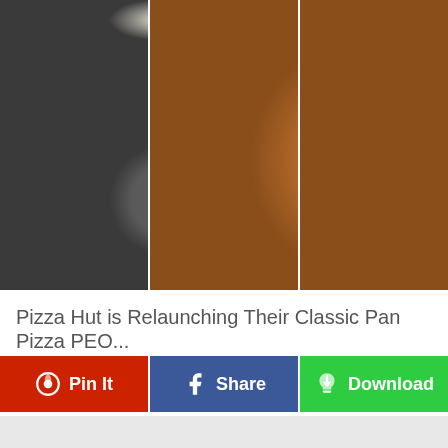[Figure (photo): Three side-by-side photos of Pan Pizza in dark round pans: left shows pepperoni pizza with cheese pull, center shows pepperoni and jalapeño pizza with cheese pull, right shows pizza with peppers and vegetables with cheese pull. All on a wooden table background.]
Pizza Hut is Relaunching Their Classic Pan Pizza PEO...
Pin It | Share | Download
[Figure (other): Light gray placeholder/advertisement area at the bottom of the page.]